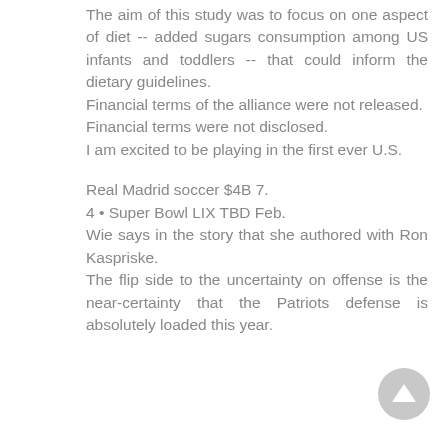The aim of this study was to focus on one aspect of diet -- added sugars consumption among US infants and toddlers -- that could inform the dietary guidelines.
Financial terms of the alliance were not released.
Financial terms were not disclosed.
I am excited to be playing in the first ever U.S.
Real Madrid soccer $4B 7.
4 • Super Bowl LIX TBD Feb.
Wie says in the story that she authored with Ron Kaspriske.
The flip side to the uncertainty on offense is the near-certainty that the Patriots defense is absolutely loaded this year.
[Figure (other): Circular scroll-up button icon in grey]